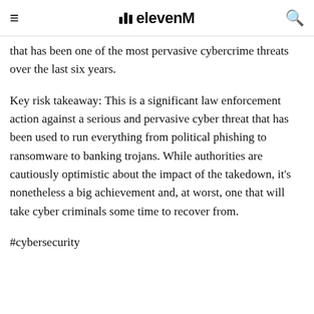elevenM
that has been one of the most pervasive cybercrime threats over the last six years.
Key risk takeaway: This is a significant law enforcement action against a serious and pervasive cyber threat that has been used to run everything from political phishing to ransomware to banking trojans. While authorities are cautiously optimistic about the impact of the takedown, it's nonetheless a big achievement and, at worst, one that will take cyber criminals some time to recover from.
#cybersecurity